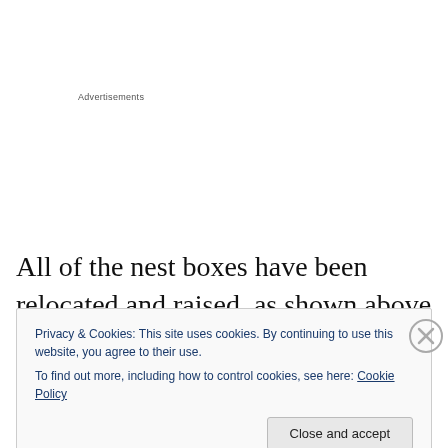Advertisements
All of the nest boxes have been relocated and raised, as shown above there are now boxes on both walls instead of
Privacy & Cookies: This site uses cookies. By continuing to use this website, you agree to their use.
To find out more, including how to control cookies, see here: Cookie Policy
Close and accept